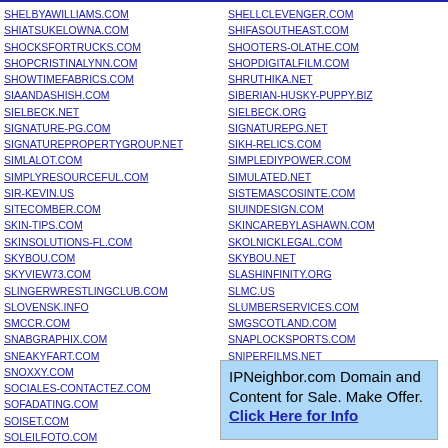SHELBYAWILLIAMS.COM
SHIATSUKELOWNA.COM
SHOCKSFORTRUCKS.COM
SHOPCRISTINALYNN.COM
SHOWTIMEFABRICS.COM
SIAANDASHISH.COM
SIELBECK.NET
SIGNATURE-PG.COM
SIGNATUREPROPERTYGROUP.NET
SIMLALOT.COM
SIMPLYRESOURCEFUL.COM
SIR-KEVIN.US
SITECOMBER.COM
SKIN-TIPS.COM
SKINSOLUTIONS-FL.COM
SKYBOU.COM
SKYVIEW73.COM
SLINGERWRESTLINGCLUB.COM
SLOVENSK.INFO
SMCCR.COM
SNABGRAPHIX.COM
SNEAKYFART.COM
SNOXXY.COM
SOCIALES-CONTACTEZ.COM
SOFADATING.COM
SOISET.COM
SOLEILFOTO.COM
SOLONNSINVESTMENT.COM
SHELLCLEVENGER.COM
SHIFASOUTHEAST.COM
SHOOTERS-OLATHE.COM
SHOPDIGITALFILM.COM
SHRUTHIKA.NET
SIBERIAN-HUSKY-PUPPY.BIZ
SIELBECK.ORG
SIGNATUREPG.NET
SIKH-RELICS.COM
SIMPLEDIYPOWER.COM
SIMULATED.NET
SISTEMASCOSINTE.COM
SIUINDESIGN.COM
SKINCAREBYLASHAWN.COM
SKOLNICKLEGAL.COM
SKYBOU.NET
SLASHINFINITY.ORG
SLMC.US
SLUMBERSERVICES.COM
SMGSCOTLAND.COM
SNAPLOCKSPORTS.COM
SNIPERFILMS.NET
SNUGHARBORSTUDIO.COM
IPNeighbor.com Domain and Content for Sale. Make Offer. Click Here for Info